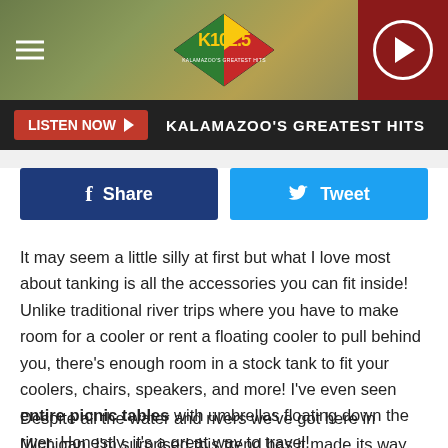[Figure (screenshot): K102.5 radio station website header with logo, hamburger menu, and play button on dark red background]
LISTEN NOW ▶ KALAMAZOO'S GREATEST HITS
Share
Tweet
It may seem a little silly at first but what I love most about tanking is all the accessories you can fit inside! Unlike traditional river trips where you have to make room for a cooler or rent a floating cooler to pull behind you, there's enough room in a stock tank to fit your coolers, chairs, speakers, and more! I've even seen entire picnic tables with umbrellas floating down the river. Honestly, it's a great way to travel!
Despite all the water and rivers we've got here in Michigan, I'm surprised this trend has it made its way over to the Great